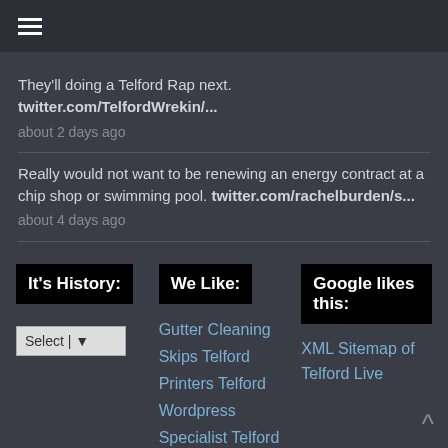☰ (hamburger menu)
They'll doing a Telford Rap next. twitter.com/TelfordWrekin/...
about 2 days ago
Really would not want to be renewing an energy contract at a chip shop or swimming pool. twitter.com/rachelburden/s...
about 4 days ago
It's History:
We Like:
Google likes this:
Gutter Cleaning
Skips Telford
Printers Telford
Wordpress Specialist Telford
Wellington Cinema
Cheap Website Telford
Carpet Cleaning
XML Sitemap of Telford Live